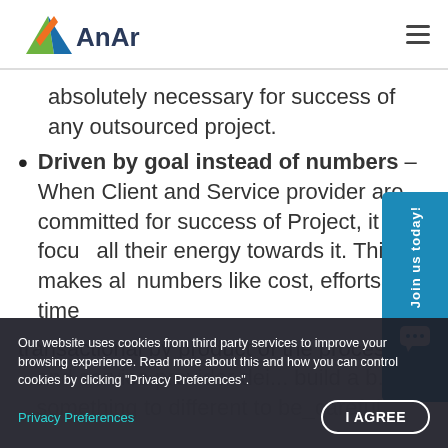AnAr
absolutely necessary for success of any outsourced project.
Driven by goal instead of numbers – When Client and Service provider are committed for success of Project, it focus all their energy towards it. This makes all numbers like cost, efforts, time transactional by product of the process.
Our website uses cookies from third party services to improve your browsing experience. Read more about this and how you can control cookies by clicking "Privacy Preferences".